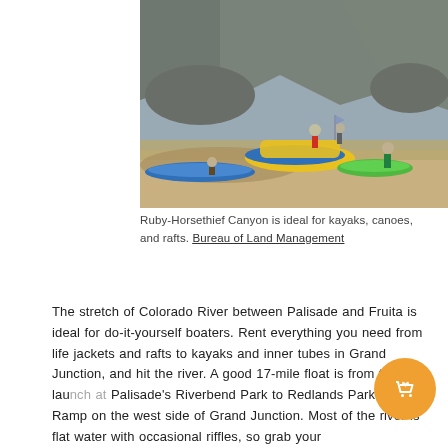[Figure (photo): People with kayaks, canoes, and inflatable rafts on a rocky riverbank. Blue and yellow rafts visible, a green kayak, and a blue kayak in shallow muddy water. Large boulders and rocky cliffs in the background.]
Ruby-Horsethief Canyon is ideal for kayaks, canoes, and rafts. Bureau of Land Management
The stretch of Colorado River between Palisade and Fruita is ideal for do-it-yourself boaters. Rent everything you need from life jackets and rafts to kayaks and inner tubes in Grand Junction, and hit the river. A good 17-mile float is from the boat launch at Palisade's Riverbend Park to Redlands Parkway Boat Ramp on the west side of Grand Junction. Most of the river is flat water with occasional riffles, so grab your